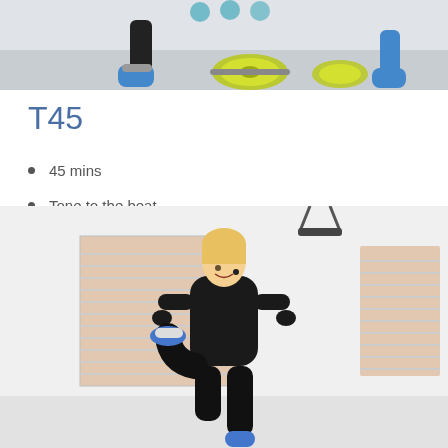[Figure (photo): Top portion of a photo showing feet and legs near gym weights/barbell plates on a gym floor]
T45
45 mins
Tone to the beat
[Figure (photo): A woman in black athletic wear doing a high-knee exercise move in a bright white room with wooden venetian blinds on windows]